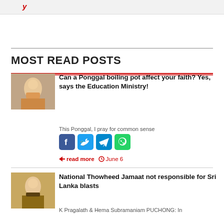MOST READ POSTS
Can a Ponggal boiling pot affect your faith? Yes, says the Education Ministry!
This Ponggal, I pray for common sense
read more  June 6
National Thowheed Jamaat not responsible for Sri Lanka blasts
K Pragalath & Hema Subramaniam PUCHONG: In